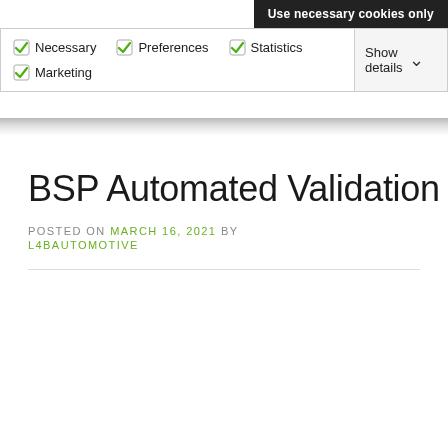Use necessary cookies only
[Figure (screenshot): Cookie consent bar with checkboxes for Necessary, Preferences, Statistics, Marketing (all checked) and a Show details dropdown on the right]
BSP Automated Validation
POSTED ON MARCH 16, 2021 BY L4BAUTOMOTIVE